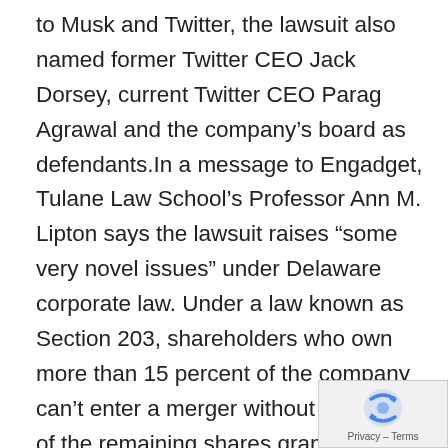to Musk and Twitter, the lawsuit also named former Twitter CEO Jack Dorsey, current Twitter CEO Parag Agrawal and the company's board as defendants.In a message to Engadget, Tulane Law School's Professor Ann M. Lipton says the lawsuit raises “some very novel issues” under Delaware corporate law. Under a law known as Section 203, shareholders who own more than 15 percent of the company can’t enter a merger without two-thirds of the remaining shares granting approval. Without this approval, the merger can’t be finalized for another three years.The fund’s lawyers state that Musk initially owned roughly 10 percent of Twitter’s shares, which would seemingly not make Section 203 applicable. But, the fund argues, Musk formed a pact with Morgan
[Figure (logo): Privacy & Terms reCAPTCHA badge icon (blue swirling arrows logo) with text 'Privacy - Terms']